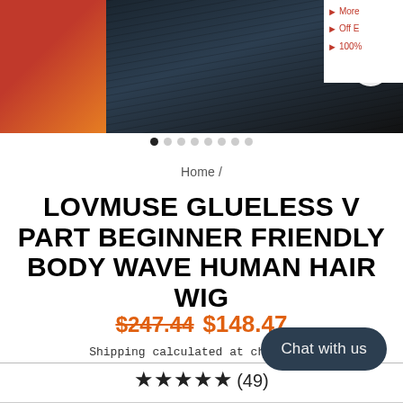[Figure (photo): Product images for hair wig: small thumbnail on the left showing reddish/orange tone, main center image showing a woman with long black body wave hair, search/magnify icon overlay on main image. Right side partially visible with bullet points.]
More | Off E | 100%
Home /
LOVMUSE GLUELESS V PART BEGINNER FRIENDLY BODY WAVE HUMAN HAIR WIG
$247.44  $148.47
Shipping calculated at checkout.
Chat with us
★★★★★ (49)